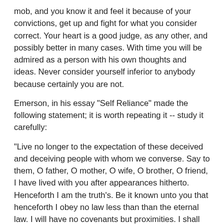mob, and you know it and feel it because of your convictions, get up and fight for what you consider correct. Your heart is a good judge, as any other, and possibly better in many cases. With time you will be admired as a person with his own thoughts and ideas. Never consider yourself inferior to anybody because certainly you are not.
Emerson, in his essay "Self Reliance" made the following statement; it is worth repeating it -- study it carefully:
"Live no longer to the expectation of these deceived and deceiving people with whom we converse. Say to them, O father, O mother, O wife, O brother, O friend, I have lived with you after appearances hitherto. Henceforth I am the truth's. Be it known unto you that henceforth I obey no law less than than the eternal law. I will have no covenants but proximities. I shall endeavour to nourish my parents, to support my family, to be the chaste husband of one wife, -- but these relations I must fill after a new and unprecedented way, I appeal from your customs. I must be myself, I cannot break myself any longer for you, or you. If you can love me for what I am, we shall be the happier. If you cannot, I will still seek to deserve that you should. I will not hide my tastes or aversions. I will so trust that what is deep is holy, that I will do strongly before the sun and